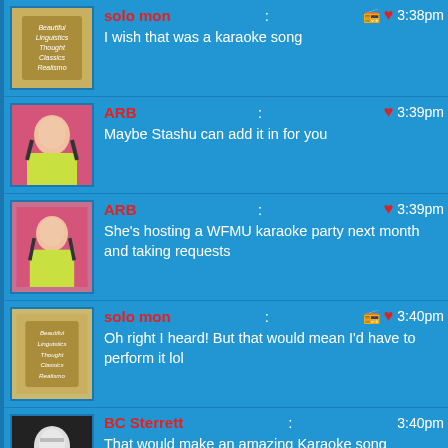solo mon: I wish that was a karaoke song 3:38pm
ARB: Maybe Stashu can add it in for you 3:39pm
ARB: She's hosting a WFMU karaoke party next month and taking requests 3:39pm
solo mon: Oh right I heard! But that would mean I'd have to perform it lol 3:40pm
BC Sterrett: That would make an amazing Karaoke song 3:40pm
chresti: They're Coming to take me away, might make a good Karaoke song. 3:40pm
Mr Fab: What are they singing, "I'm the devil, and we're the coco-men"? 3:40pm
DJ GeorgyGirl: 3:40pm